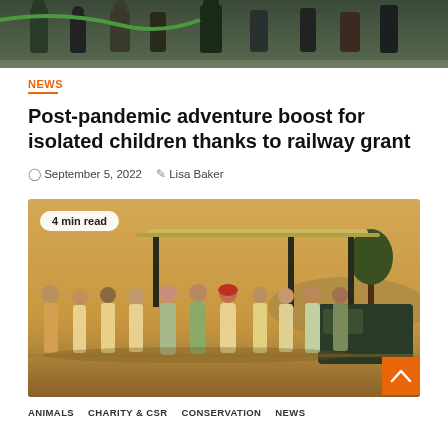[Figure (photo): Partial top photo showing people outdoors, cropped at top of page]
NEWS
Post-pandemic adventure boost for isolated children thanks to railway grant
September 5, 2022   Lisa Baker
[Figure (photo): Group of people in safari/outdoor setting standing in front of a vehicle with a canopy roof, in a dry savanna landscape. Badge reads '4 min read'.]
ANIMALS   CHARITY & CSR   CONSERVATION   NEWS